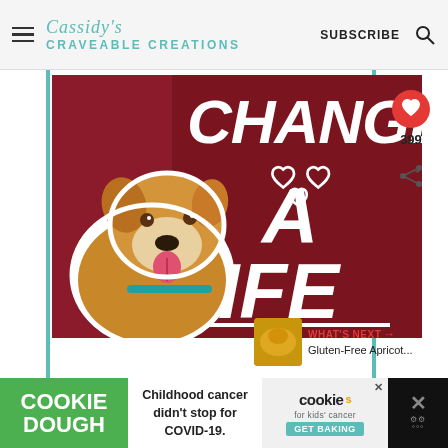Cassidy's Craveable Creations — SUBSCRIBE
[Figure (photo): Promotional graphic with a dog (golden/tan pit bull mix smiling) on a dark red background with bold white text reading CHANGE A LIFE and white heart outlines]
399
WHAT'S NEXT → Gluten-Free Apricot...
[Figure (photo): Advertisement banner: Cookie Dough (green) | Childhood cancer didn't stop for COVID-19. | cookies for kids cancer GET BAKING | X dismiss button]